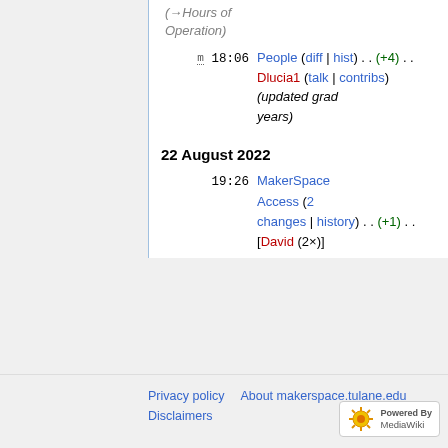(→Hours of Operation)
m 18:06 People (diff | hist) . . (+4) . . Dlucia1 (talk | contribs) (updated grad years)
22 August 2022
19:26 MakerSpace Access (2 changes | history) . . (+1) . . [David (2×)]
Privacy policy  About makerspace.tulane.edu  Disclaimers  Powered By MediaWiki